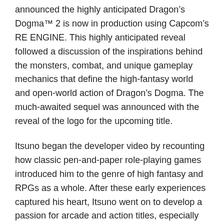announced the highly anticipated Dragon's Dogma™ 2 is now in production using Capcom's RE ENGINE. This highly anticipated reveal followed a discussion of the inspirations behind the monsters, combat, and unique gameplay mechanics that define the high-fantasy world and open-world action of Dragon's Dogma. The much-awaited sequel was announced with the reveal of the logo for the upcoming title.
Itsuno began the developer video by recounting how classic pen-and-paper role-playing games introduced him to the genre of high fantasy and RPGs as a whole. After these early experiences captured his heart, Itsuno went on to develop a passion for arcade and action titles, especially the combat of Capcom's Street Fighter™ II. By the year 2000, Itsuno had released multiple titles for Capcom's arcade division and began piecing together the first concepts for a game that would eventually become Dragon's Dogma. This dream would have to wait however, as